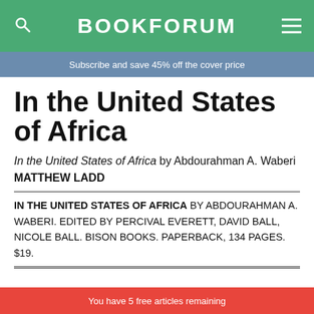BOOKFORUM
Subscribe and save 45% off the cover price
In the United States of Africa
In the United States of Africa by Abdourahman A. Waberi
MATTHEW LADD
IN THE UNITED STATES OF AFRICA BY ABDOURAHMAN A. WABERI. EDITED BY PERCIVAL EVERETT, DAVID BALL, NICOLE BALL. BISON BOOKS. PAPERBACK, 134 PAGES. $19.
You have 5 free articles remaining